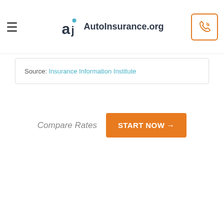AutoInsurance.org
Source: Insurance Information Institute
Compare Rates  START NOW →